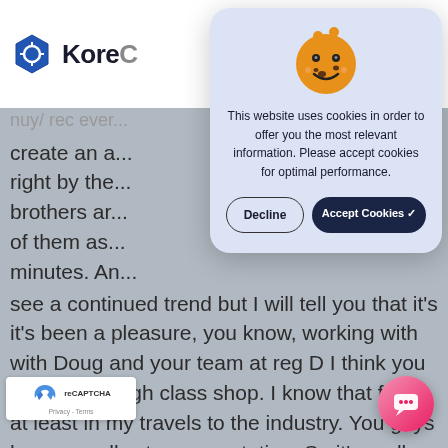KoreC (KoreConnect logo)
create an a... right by the... brothers ar... of them as... minutes. An... see a continued trend but I will tell you that it's it's been a pleasure, you know, working with with Doug and your team at reg D I think you guys are a high class shop. I know that from at least in my travels to the industry. You guys have a really strong reputation. So it's really a pleasure to work and be working with you guys to a really good comprehensive service to uld definitely consider talking with you as
[Figure (screenshot): Cookie consent dialog with orange smiley cookie emoji, text 'This website uses cookies in order to offer you the most relevant information. Please accept cookies for optimal performance.', Decline button and Accept Cookies button with checkmark]
[Figure (other): reCAPTCHA Privacy - Terms badge in bottom left corner]
[Figure (other): Pink/red circular chat button in bottom right corner]